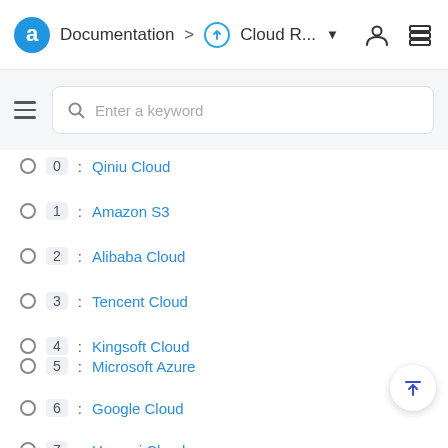Documentation > Cloud R...
0 : Qiniu Cloud
1 : Amazon S3
2 : Alibaba Cloud
3 : Tencent Cloud
4 : Kingsoft Cloud
5 : Microsoft Azure
6 : Google Cloud
7 : Huawei Cloud
8 : Baidu AI Cloud